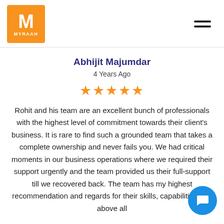[Figure (logo): Myraah orange square logo with white M letter and MYRAAH text below]
Abhijit Majumdar
4 Years Ago
[Figure (other): 5 orange star rating]
Rohit and his team are an excellent bunch of professionals with the highest level of commitment towards their client's business. It is rare to find such a grounded team that takes a complete ownership and never fails you. We had critical moments in our business operations where we required their support urgently and the team provided us their full-support till we recovered back. The team has my highest recommendation and regards for their skills, capabilities and above all